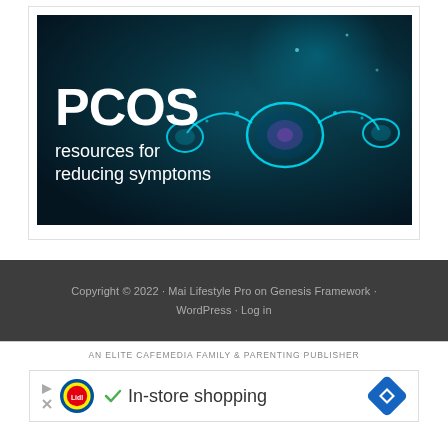[Figure (illustration): PCOS resources for reducing symptoms — dark teal/blue background with glowing anatomical illustration of uterus and ovaries, bold white text reading 'PCOS resources for reducing symptoms']
Copyright © 2022 · Mai Lifestyle Pro on Genesis Framework · WordPress · Log in
AN ELITE CAFEMEDIA FAMILY & PARENTING PUBLISHER
[Figure (screenshot): Advertisement banner: Lidl logo, checkmark, 'In-store shopping' text, blue diamond arrow icon]